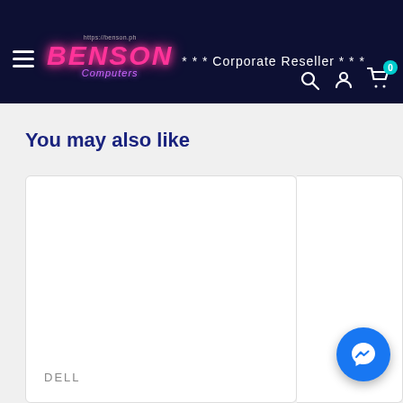https://benson.ph BENSON Computers *** Corporate Reseller ***
You may also like
DELL
[Figure (other): Messenger chat button (Facebook Messenger icon, blue circle)]